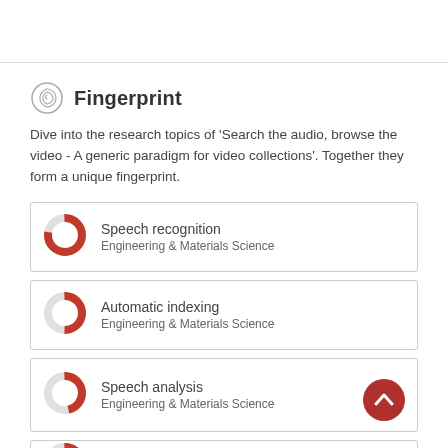Fingerprint
Dive into the research topics of 'Search the audio, browse the video - A generic paradigm for video collections'. Together they form a unique fingerprint.
Speech recognition
Engineering & Materials Science
Automatic indexing
Engineering & Materials Science
Speech analysis
Engineering & Materials Science
Image retrieval